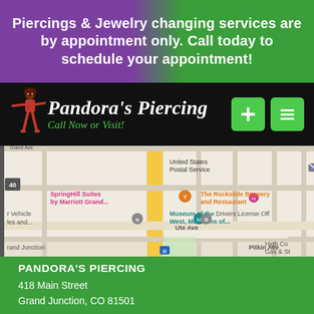Piercings & Jewelry changing services are by appointment only. Call today to schedule your appointment!
[Figure (logo): Pandora's Piercing logo with decorative female figure, script text 'Pandora's Piercing' and tagline 'Call Now or Visit!' in green, on black navbar with two green icon buttons]
[Figure (map): Google Maps screenshot showing area around 418 Main Street, Grand Junction, CO 81501, with landmarks including United States Postal Service, SpringHill Suites by Marriott Grand, The Rockslide Brewery and Restaurant, Museum of the West Museums of, Drivers License Office, Grand Junction transit, street labels N 5th St, N 6th St, N 8th St, N 9th St, Ute Ave, Pitkin Ave]
PANDORA'S PIERCING
418 Main Street
Grand Junction, CO 81501